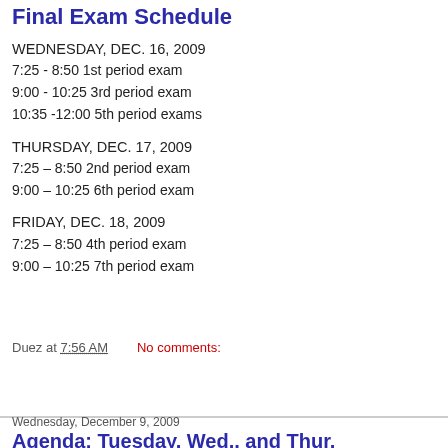Final Exam Schedule
WEDNESDAY, DEC. 16, 2009
7:25 - 8:50 1st period exam
9:00 - 10:25 3rd period exam
10:35 -12:00 5th period exams

THURSDAY, DEC. 17, 2009
7:25 – 8:50 2nd period exam
9:00 – 10:25 6th period exam

FRIDAY, DEC. 18, 2009
7:25 – 8:50 4th period exam
9:00 – 10:25 7th period exam
Duez at 7:56 AM    No comments:
Share
Wednesday, December 9, 2009
Agenda: Tuesday, Wed,, and Thur,